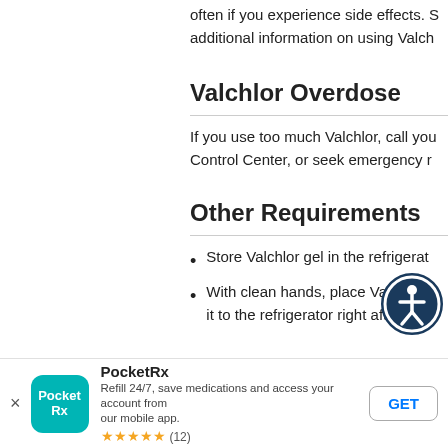often if you experience side effects. S…additional information on using Valch…
Valchlor Overdose
If you use too much Valchlor, call you… Control Center, or seek emergency r…
Other Requirements
Store Valchlor gel in the refrigerat…
With clean hands, place Valchlor g… it to the refrigerator right after eac…
[Figure (logo): Accessibility icon — person in circle, dark blue]
PocketRx — Refill 24/7, save medications and access your account from our mobile app. ★★★★★ (12)